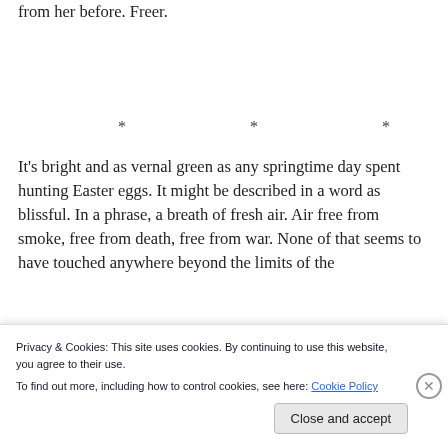from her before. Freer.
* * *
It's bright and as vernal green as any springtime day spent hunting Easter eggs. It might be described in a word as blissful. In a phrase, a breath of fresh air. Air free from smoke, free from death, free from war. None of that seems to have touched anywhere beyond the limits of the
Privacy & Cookies: This site uses cookies. By continuing to use this website, you agree to their use.
To find out more, including how to control cookies, see here: Cookie Policy
Close and accept